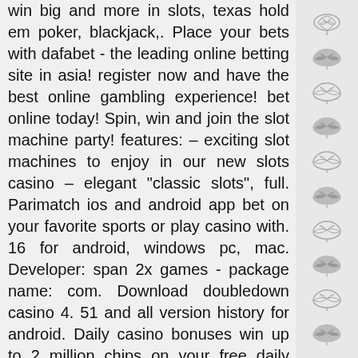win big and more in slots, texas hold em poker, blackjack,. Place your bets with dafabet - the leading online betting site in asia! register now and have the best online gambling experience! bet online today! Spin, win and join the slot machine party! features: – exciting slot machines to enjoy in our new slots casino – elegant "classic slots", full. Parimatch ios and android app bet on your favorite sports or play casino with. 16 for android, windows pc, mac. Developer: span 2x games - package name: com. Download doubledown casino 4. 51 and all version history for android. Daily casino bonuses win up to 2 million chips on your free daily bonus spin!
There is no scientific formula and grading scale for the volatility of slot machines, no download casino slots online SpinJuu Casino, 12 win casino apk download.
To learn more read the How to Claim a Bonus section. This will begin the transaction